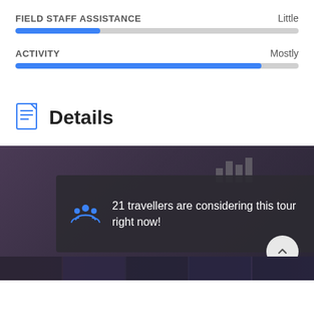FIELD STAFF ASSISTANCE — Little
[Figure (infographic): Progress bar for Field Staff Assistance showing approximately 30% fill in blue on a light gray track]
ACTIVITY — Mostly
[Figure (infographic): Progress bar for Activity showing approximately 87% fill in blue on a light gray track]
Details
[Figure (infographic): Tour image with dark overlay showing '21 travellers are considering this tour right now!' with a people icon, and a scroll-to-top button]